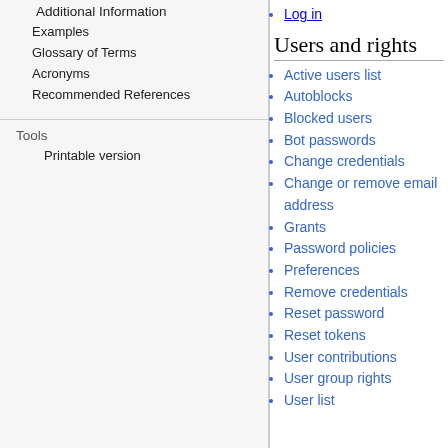Additional Information
Examples
Glossary of Terms
Acronyms
Recommended References
Tools
Printable version
Log in
Users and rights
Active users list
Autoblocks
Blocked users
Bot passwords
Change credentials
Change or remove email address
Grants
Password policies
Preferences
Remove credentials
Reset password
Reset tokens
User contributions
User group rights
User list